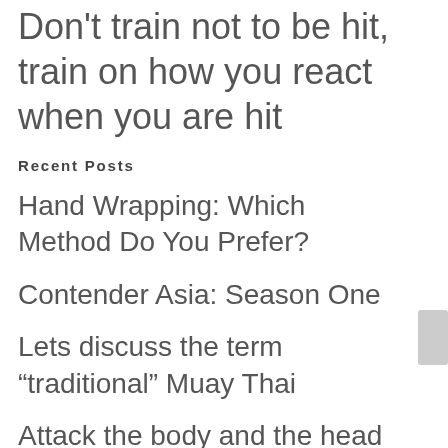Don't train not to be hit, train on how you react when you are hit
Recent Posts
Hand Wrapping: Which Method Do You Prefer?
Contender Asia: Season One
Lets discuss the term “traditional” Muay Thai
Attack the body and the head will die.
Getting back into training.
Categories